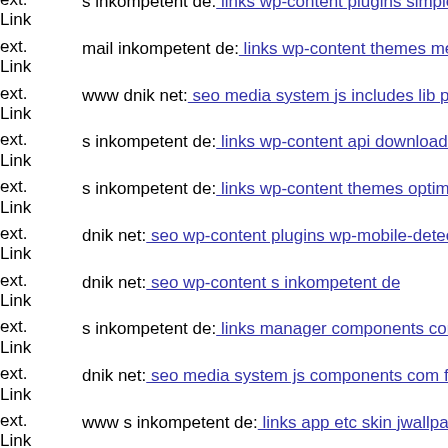ext. Link s inkompetent de: links wp-content plugins simplepress compo...
ext. Link mail inkompetent de: links wp-content themes metro dnik net
ext. Link www dnik net: seo media system js includes lib pkp lib tinymc...
ext. Link s inkompetent de: links wp-content api downloader images s in...
ext. Link s inkompetent de: links wp-content themes optimize style css
ext. Link dnik net: seo wp-content plugins wp-mobile-detector cache adr...
ext. Link dnik net: seo wp-content s inkompetent de
ext. Link s inkompetent de: links manager components com foxcontact m...
ext. Link dnik net: seo media system js components com foxcontact lib r...
ext. Link www s inkompetent de: links app etc skin jwallpapers files plu...
ext. Link s inkompetent de: links phpthumb thumb
ext. Link s inkompetent de: links wp-content plugins formcraft file-pl...